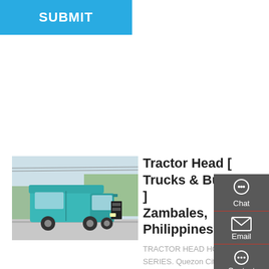SUBMIT
[Figure (photo): A teal/cyan colored Sinotruk HOWO-A7 tractor head truck on a road with trees in background]
Tractor Head [ Trucks & Buses ] Zambales, Philippines
TRACTOR HEAD HOWO-A7 SERIES. Quezon City Trucks Buses. Unit Type:Tractor Head HOWO-A7 Series Unit Brand:SINOTRUK Engine:Weichai 420 HP SRP:
Chat
Email
Contact
Top